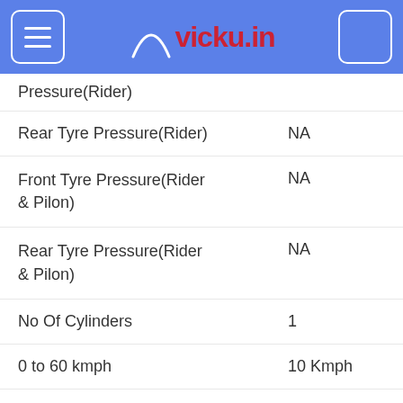vicky.in
Pressure(Rider)
Rear Tyre Pressure(Rider)	NA
Front Tyre Pressure(Rider & Pilon)	NA
Rear Tyre Pressure(Rider & Pilon)	NA
No Of Cylinders	1
0 to 60 kmph	10 Kmph
Mileage City	42
Mileage Highway	52